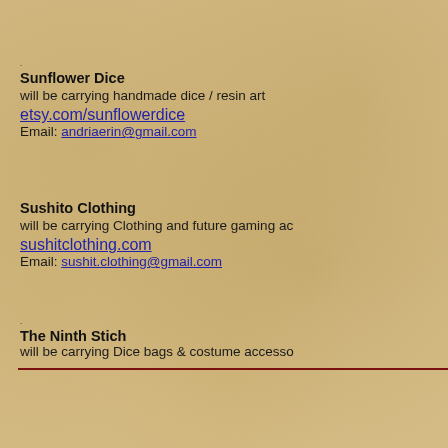Sunflower Dice
will be carrying handmade dice / resin art
etsy.com/sunflowerdice
Email: andriaerin@gmail.com
Sushito Clothing
will be carrying Clothing and future gaming ac
sushitclothing.com
Email: sushit.clothing@gmail.com
The Ninth Stich
will be carrying Dice bags & costume accesso